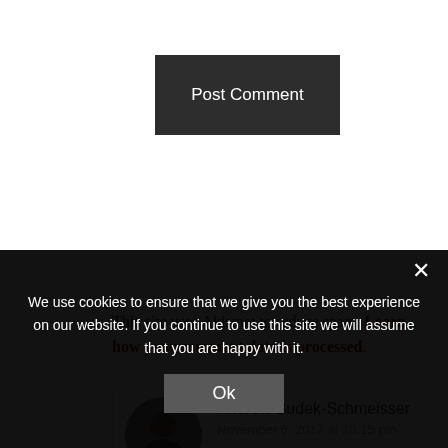Post Comment
This site uses Akismet to reduce spam. Learn how your comment data is processed.
Andrew Budek-Schmeisser
November 6, 2017 at 10:15 pm
We use cookies to ensure that we give you the best experience on our website. If you continue to use this site we will assume that you are happy with it.
Ok